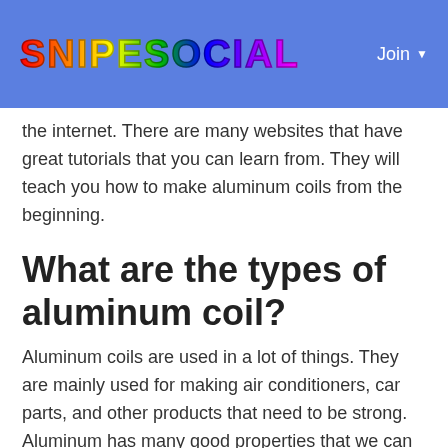SNIPESOCIAL | Join
the internet. There are many websites that have great tutorials that you can learn from. They will teach you how to make aluminum coils from the beginning.
What are the types of aluminum coil?
Aluminum coils are used in a lot of things. They are mainly used for making air conditioners, car parts, and other products that need to be strong. Aluminum has many good properties that we can use. It is easy to work with and it can be bent and shaped into any shape that you want. However, it is also very hard.